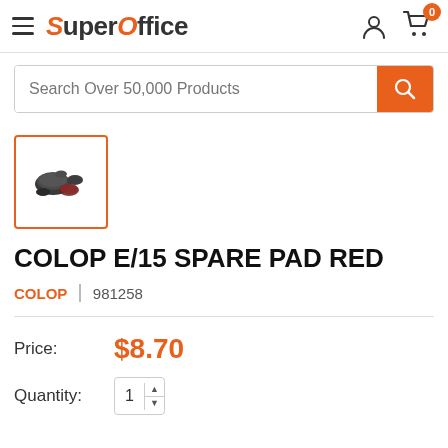SuperOffice — Search Over 50,000 Products
[Figure (photo): Small product thumbnail image showing rubber stamp pads/spare pads in dark colors with orange square border]
COLOP E/15 SPARE PAD RED
COLOP | 981258
Price: $8.70
Quantity: 1